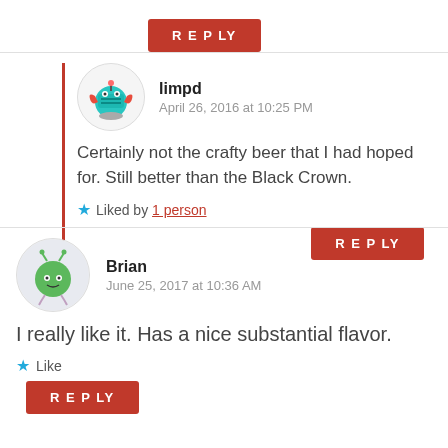REPLY
limpd
April 26, 2016 at 10:25 PM
Certainly not the crafty beer that I had hoped for. Still better than the Black Crown.
Liked by 1 person
REPLY
Brian
June 25, 2017 at 10:36 AM
I really like it. Has a nice substantial flavor.
Like
REPLY